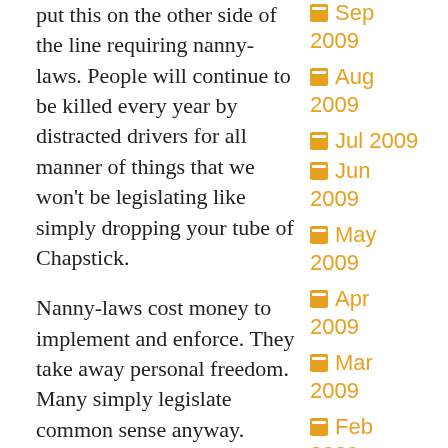put this on the other side of the line requiring nanny-laws. People will continue to be killed every year by distracted drivers for all manner of things that we won't be legislating like simply dropping your tube of Chapstick.
Nanny-laws cost money to implement and enforce. They take away personal freedom. Many simply legislate common sense anyway. Look, we all take our eyes off the road from time to time for a variety of reasons. We always will. The key is to only do it when you can safely get away with it. We need to be teaching people how to be better
Sep 2009
Aug 2009
Jul 2009
Jun 2009
May 2009
Apr 2009
Mar 2009
Feb 2009